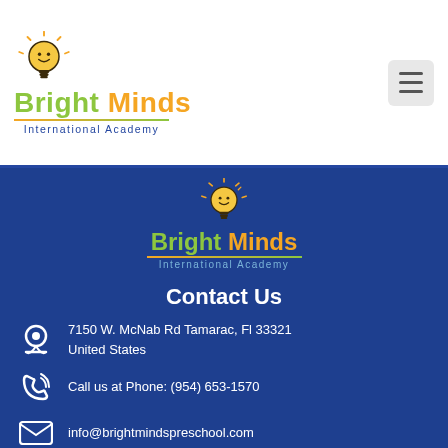[Figure (logo): Bright Minds International Academy logo with lightbulb and smiley face, header version]
[Figure (logo): Bright Minds International Academy logo with lightbulb and smiley face, footer version]
Contact Us
7150 W. McNab Rd Tamarac, Fl 33321 United States
Call us at Phone: (954) 653-1570
info@brightmindspreschool.com